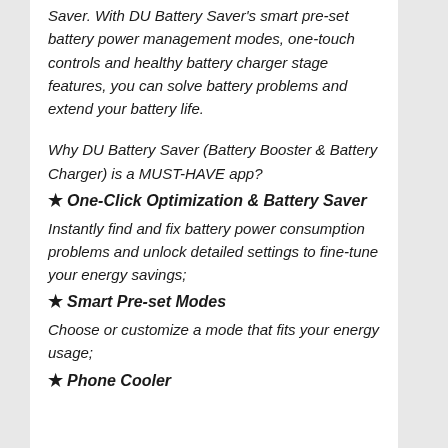Saver. With DU Battery Saver's smart pre-set battery power management modes, one-touch controls and healthy battery charger stage features, you can solve battery problems and extend your battery life.
Why DU Battery Saver (Battery Booster & Battery Charger) is a MUST-HAVE app?
★ One-Click Optimization & Battery Saver
Instantly find and fix battery power consumption problems and unlock detailed settings to fine-tune your energy savings;
★ Smart Pre-set Modes
Choose or customize a mode that fits your energy usage;
★ Phone Cooler